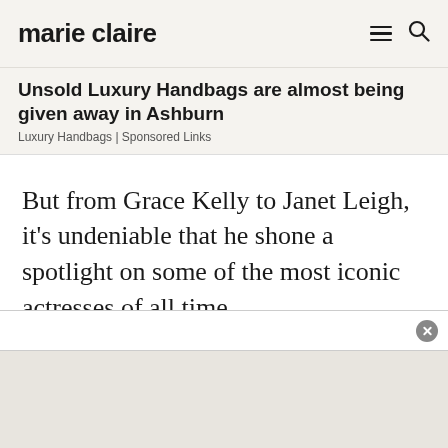marie claire
Unsold Luxury Handbags are almost being given away in Ashburn
Luxury Handbags | Sponsored Links
But from Grace Kelly to Janet Leigh, it’s undeniable that he shone a spotlight on some of the most iconic actresses of all time.
On what would have been the ‘Master Of